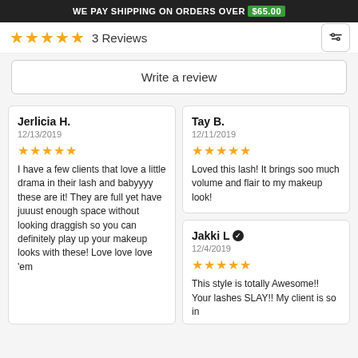WE PAY SHIPPING ON ORDERS OVER $65.00
★★★★★  3 Reviews
Write a review
Jerlicia H.
12/13/2019
★★★★★
I have a few clients that love a little drama in their lash and babyyyy these are it! They are full yet have juuust enough space without looking draggish so you can definitely play up your makeup looks with these! Love love love 'em
Tay B.
12/11/2019
★★★★★
Loved this lash! It brings soo much volume and flair to my makeup look!
Jakki L ✓
12/4/2019
★★★★★
This style is totally Awesome!! Your lashes SLAY!! My client is so in